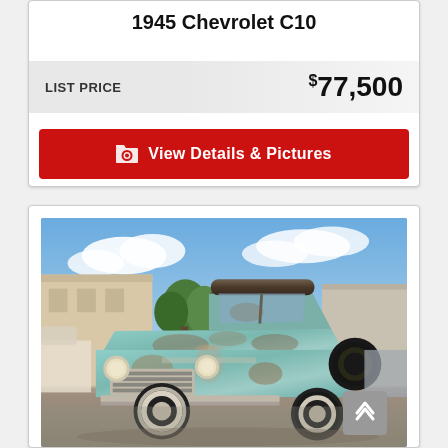1945 Chevrolet C10
LIST PRICE  $77,500
View Details & Pictures
[Figure (photo): A vintage Chevrolet C10 pickup truck with heavily weathered teal/turquoise paint and patina, photographed in a parking lot with a blue sky and clouds in the background. The truck appears to be from the late 1950s era with chrome grille details and white sidewall tires.]